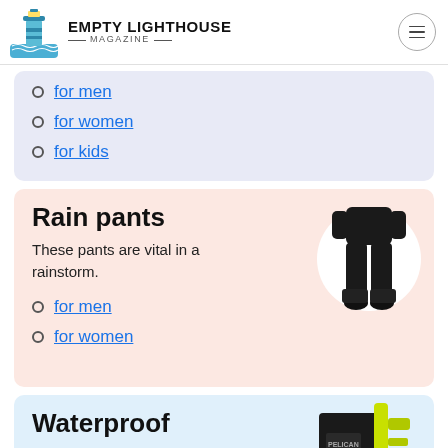EMPTY LIGHTHOUSE MAGAZINE
for men
for women
for kids
Rain pants
These pants are vital in a rainstorm.
for men
for women
[Figure (photo): Person wearing black rain pants, shown from waist down, on white circular background]
Waterproof
[Figure (photo): Waterproof bag/case with yellow strap, Pelican brand, partial view]